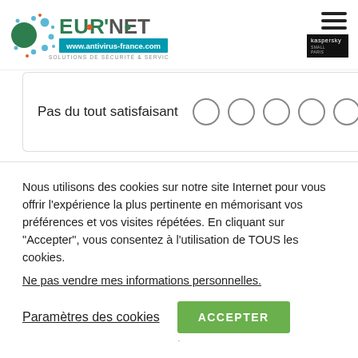[Figure (logo): EUR'NET logo with dots/circles motif and text 'www.antivirus-france.com SOLUTIONS DE SÉCURITÉ & SERVICES']
[Figure (illustration): Hamburger menu icon (three horizontal bars) and Kaspersky small badge/logo in top right]
Pas du tout satisfaisant ○ ○ ○ ○ ○ ○
Comment évaluez-vous le délai de traitement …
Nous utilisons des cookies sur notre site Internet pour vous offrir l'expérience la plus pertinente en mémorisant vos préférences et vos visites répétées. En cliquant sur "Accepter", vous consentez à l'utilisation de TOUS les cookies.
Ne pas vendre mes informations personnelles.
Paramètres des cookies
ACCEPTER